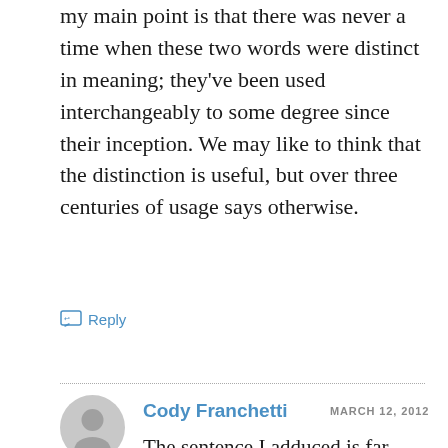my main point is that there was never a time when these two words were distinct in meaning; they've been used interchangeably to some degree since their inception. We may like to think that the distinction is useful, but over three centuries of usage says otherwise.
Reply
Cody Franchetti   MARCH 12, 2012
The sentence I adduced is far from